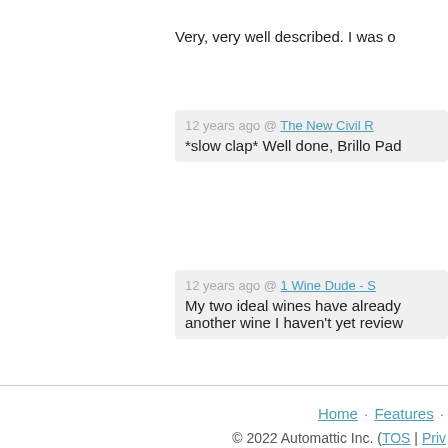Very, very well described. I was o
12 years ago @ The New Civil R
*slow clap* Well done, Brillo Pad
12 years ago @ 1 Wine Dude - S
My two ideal wines have already another wine I haven't yet review
12 years ago @ 1 Wine Dude - Y
What kind of wing is it? I'm intrig
Home  Features
© 2022 Automattic Inc. (TOS | Priv